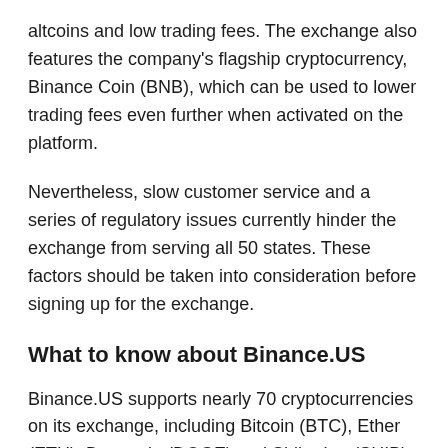altcoins and low trading fees. The exchange also features the company's flagship cryptocurrency, Binance Coin (BNB), which can be used to lower trading fees even further when activated on the platform.
Nevertheless, slow customer service and a series of regulatory issues currently hinder the exchange from serving all 50 states. These factors should be taken into consideration before signing up for the exchange.
What to know about Binance.US
Binance.US supports nearly 70 cryptocurrencies on its exchange, including Bitcoin (BTC), Ether (ETH), Dogecoin (DOGE) and Shiba Inu (SHIB). The large selection of altcoins makes Binance.US an attractive exchange to traders wishing to diversify their portfolio of coins and tokens.
The fees on the platform are among the lowest available